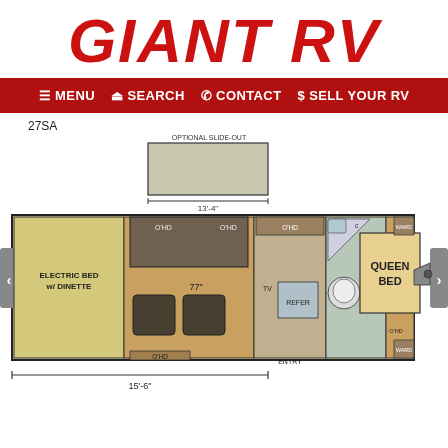[Figure (logo): Giant RV logo in red bold italic text]
≡ MENU  🔍 SEARCH  📞 CONTACT  $ SELL YOUR RV
27SA
[Figure (engineering-diagram): RV floor plan for model 27SA showing: Optional Slide-Out sofa area (13'-4"), Electric Bed w/ Dinette on left, living area with sofa chairs (77" ceiling), kitchen with TV, REFER, overhead cabinets (O'HD), bathroom with shower and toilet, Queen Bed on right with wardrobe (WARD) and overhead. Total length dimension 15'-6" shown at bottom.]